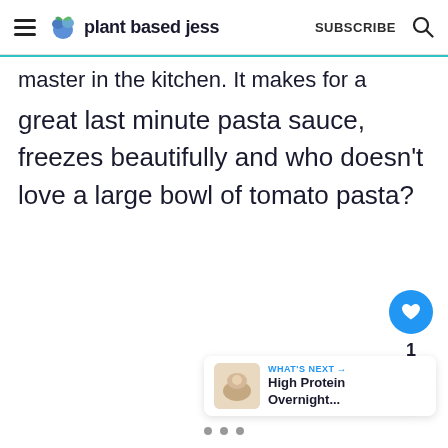plant based jess | SUBSCRIBE
master in the kitchen. It makes for a great last minute pasta sauce, freezes beautifully and who doesn't love a large bowl of tomato pasta?
[Figure (infographic): Floating action buttons: heart/like button (blue circle with heart icon), count '1', and share button (circle with share icon)]
[Figure (infographic): What's Next widget showing 'WHAT'S NEXT →' label with 'High Protein Overnight...' text and a food thumbnail image]